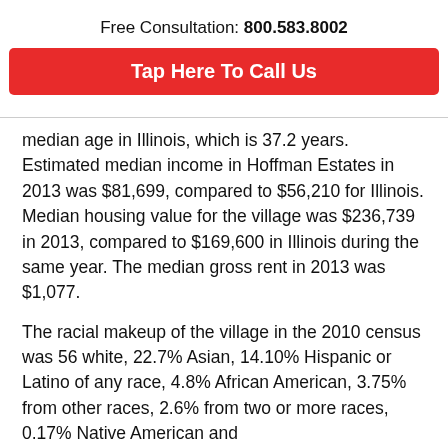Free Consultation: 800.583.8002
[Figure (other): Red button labeled 'Tap Here To Call Us']
median age in Illinois, which is 37.2 years. Estimated median income in Hoffman Estates in 2013 was $81,699, compared to $56,210 for Illinois. Median housing value for the village was $236,739 in 2013, compared to $169,600 in Illinois during the same year. The median gross rent in 2013 was $1,077.
The racial makeup of the village in the 2010 census was 56 white, 22.7% Asian, 14.10% Hispanic or Latino of any race, 4.8% African American, 3.75% from other races, 2.6% from two or more races, 0.17% Native American and